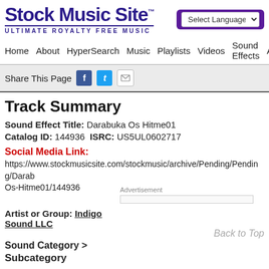Stock Music Site™ ULTIMATE ROYALTY FREE MUSIC
Track Summary
Sound Effect Title: Darabuka Os Hitme01
Catalog ID: 144936  ISRC: US5UL0602717
Social Media Link:
https://www.stockmusicsite.com/stockmusic/archive/Pending/Pending/Darabuka-Os-Hitme01/144936
Artist or Group: Indigo Sound LLC
Advertisement
Sound Category >
Subcategory